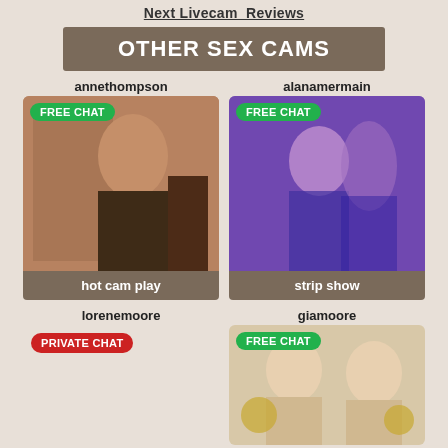Next Livecam Reviews
OTHER SEX CAMS
annethompson
[Figure (photo): Woman in lingerie posing — FREE CHAT badge, label: hot cam play]
alanamermain
[Figure (photo): Woman in purple-lit room — FREE CHAT badge, label: strip show]
lorenemoore
[Figure (photo): PRIVATE CHAT badge shown, no image visible]
giamoore
[Figure (photo): Two blonde women — FREE CHAT badge]